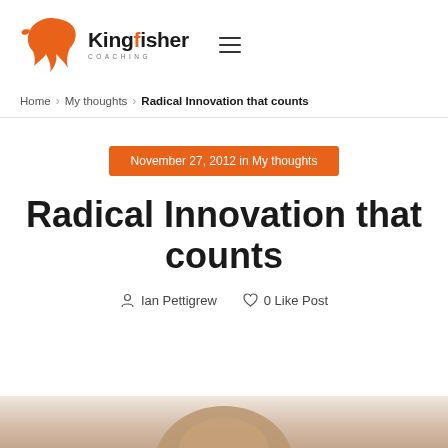Kingfisher Coaching — navigation header with hamburger menu
Home > My thoughts > Radical Innovation that counts
November 27, 2012 in My thoughts
Radical Innovation that counts
Ian Pettigrew  0 Like Post
[Figure (photo): Bottom portion of a person's head/face partially visible, cropped at bottom of page]